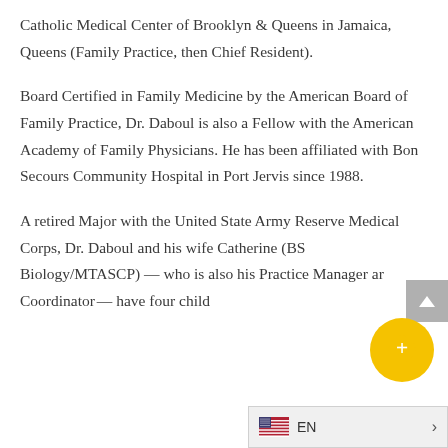Catholic Medical Center of Brooklyn & Queens in Jamaica, Queens (Family Practice, then Chief Resident).
Board Certified in Family Medicine by the American Board of Family Practice, Dr. Daboul is also a Fellow with the American Academy of Family Physicians. He has been affiliated with Bon Secours Community Hospital in Port Jervis since 1988.
A retired Major with the United State Army Reserve Medical Corps, Dr. Daboul and his wife Catherine (BS Biology/MTASCP) — who is also his Practice Manager and Coordinator — have four child...